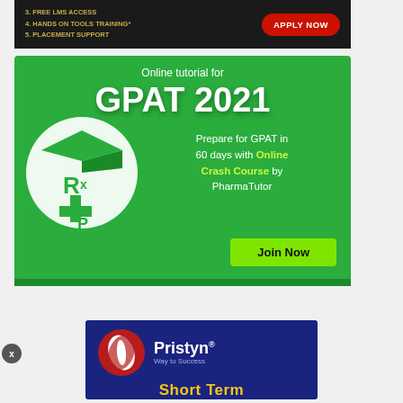[Figure (infographic): Dark background ad banner showing text: 3. FREE LMS ACCESS, 4. HANDS ON TOOLS TRAINING*, 5. PLACEMENT SUPPORT with red APPLY NOW button]
[Figure (infographic): Green background GPAT 2021 online tutorial ad by PharmaTutor with logo and Join Now button]
[Figure (logo): Pristyn Way to Success logo with Short Term text on dark blue background]